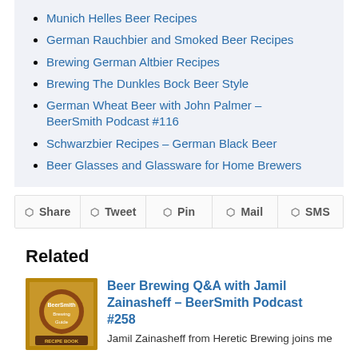Munich Helles Beer Recipes
German Rauchbier and Smoked Beer Recipes
Brewing German Altbier Recipes
Brewing The Dunkles Bock Beer Style
German Wheat Beer with John Palmer – BeerSmith Podcast #116
Schwarzbier Recipes – German Black Beer
Beer Glasses and Glassware for Home Brewers
Share | Tweet | Pin | Mail | SMS
Related
Beer Brewing Q&A with Jamil Zainasheff – BeerSmith Podcast #258
Jamil Zainasheff from Heretic Brewing joins me